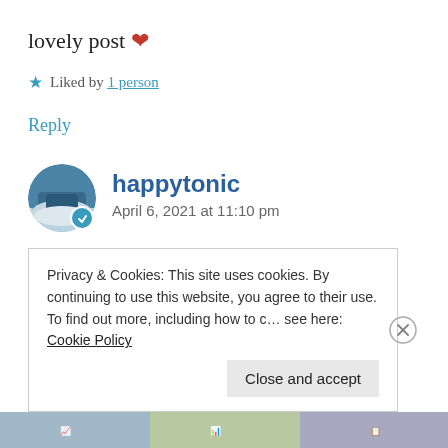lovely post ❤
★ Liked by 1 person
Reply
[Figure (photo): Circular avatar photo of a coastal beach scene with blue sky, with a teal checkmark badge overlay]
happytonic
April 6, 2021 at 11:10 pm
Thank you, Katie!
Privacy & Cookies: This site uses cookies. By continuing to use this website, you agree to their use. To find out more, including how to c… see here: Cookie Policy
Close and accept